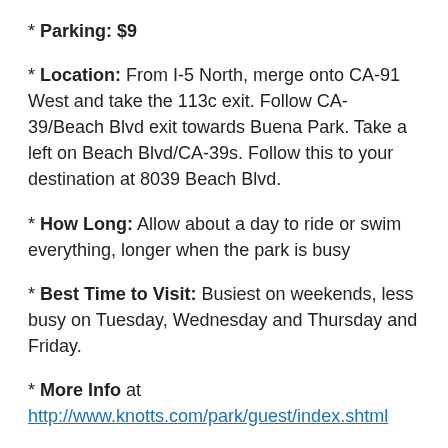* Parking: $9
* Location: From I-5 North, merge onto CA-91 West and take the 113c exit. Follow CA-39/Beach Blvd exit towards Buena Park. Take a left on Beach Blvd/CA-39s. Follow this to your destination at 8039 Beach Blvd.
* How Long: Allow about a day to ride or swim everything, longer when the park is busy
* Best Time to Visit: Busiest on weekends, less busy on Tuesday, Wednesday and Thursday and Friday.
* More Info at http://www.knotts.com/park/guest/index.shtml
4. Universal Studios Hollywood Park – $2/gas (15 miles)